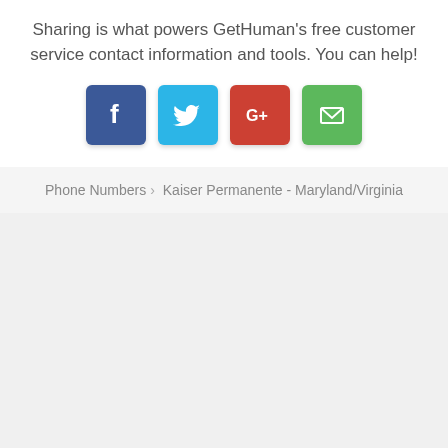Sharing is what powers GetHuman's free customer service contact information and tools. You can help!
[Figure (infographic): Four social sharing buttons: Facebook (dark blue, f icon), Twitter (cyan, bird icon), Google+ (red, G+ icon), Email (green, envelope icon)]
Phone Numbers › Kaiser Permanente - Maryland/Virginia